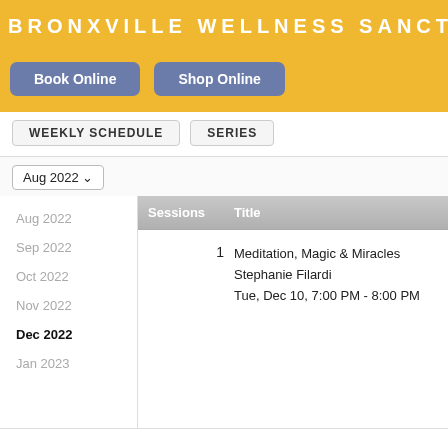BRONXVILLE WELLNESS SANCTUARY
Book Online   Shop Online
WEEKLY SCHEDULE   SERIES
Aug 2022
| Sessions | Title |
| --- | --- |
| 1 | Meditation, Magic & Miracles
Stephanie Filardi
Tue, Dec 10, 7:00 PM - 8:00 PM |
Aug 2022
Sep 2022
Oct 2022
Nov 2022
Dec 2022
Jan 2023
Powered by mindbody   Bronxville Wellness Sanctuary on Facebook   Pr